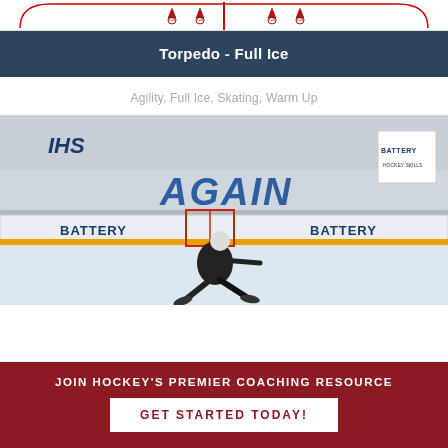[Figure (illustration): Top portion of a hockey rink diagram showing cones/markers and a red line, partially cropped]
Torpedo - Full Ice
Agility, Full Ice, Skating, Warm Up
[Figure (photo): Hockey player skating on an ice rink inside an arena. The rink boards are branded with BATTERY logos. Text AGAIN is displayed on the wall. IHS logo visible top left. Battery logo top right. A red hockey net is visible in the background.]
JOIN HOCKEY'S PREMIER COACHING RESOURCE
GET STARTED TODAY!